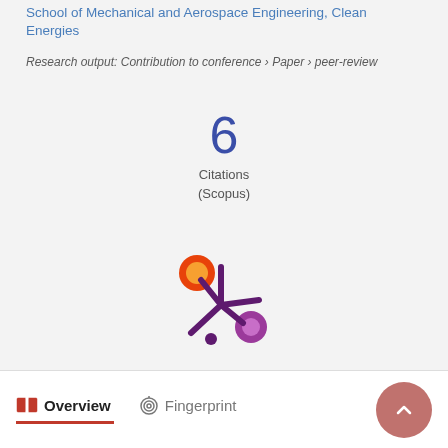School of Mechanical and Aerospace Engineering, Clean Energies
Research output: Contribution to conference › Paper › peer-review
[Figure (infographic): Citation count badge showing '6 Citations (Scopus)']
[Figure (logo): Altmetric donut logo — stylized asterisk with orange, purple, and magenta circles]
Overview   Fingerprint